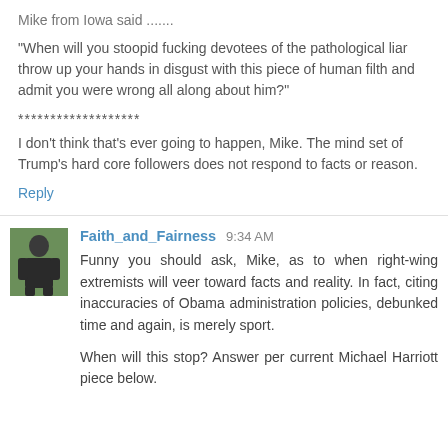Mike from Iowa said .......
"When will you stoopid fucking devotees of the pathological liar throw up your hands in disgust with this piece of human filth and admit you were wrong all along about him?"
*******************
I don't think that's ever going to happen, Mike. The mind set of Trump's hard core followers does not respond to facts or reason.
Reply
Faith_and_Fairness 9:34 AM
Funny you should ask, Mike, as to when right-wing extremists will veer toward facts and reality. In fact, citing inaccuracies of Obama administration policies, debunked time and again, is merely sport.

When will this stop? Answer per current Michael Harriott piece below.